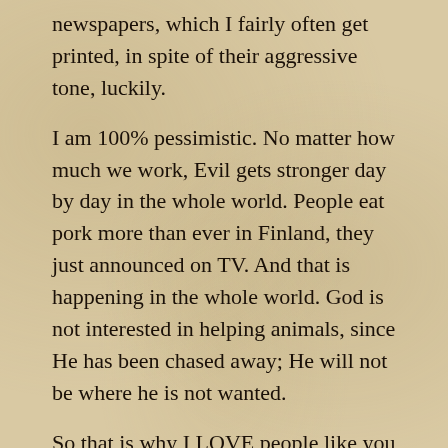newspapers, which I fairly often get printed, in spite of their aggressive tone, luckily.
I am 100% pessimistic. No matter how much we work, Evil gets stronger day by day in the whole world. People eat pork more than ever in Finland, they just announced on TV. And that is happening in the whole world. God is not interested in helping animals, since He has been chased away; He will not be where he is not wanted.
So that is why I LOVE people like you who work